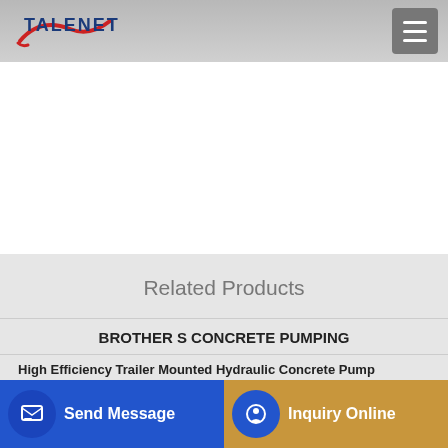[Figure (logo): TALENET company logo with red swoosh accent and navy blue text]
[Figure (other): Hamburger menu icon button (three horizontal lines) in a grey square]
Related Products
BROTHER S CONCRETE PUMPING
High Efficiency Trailer Mounted Hydraulic Concrete Pump
Hot Sell Mobile Concrete Pump 30m3/h
Send Message
Inquiry Online